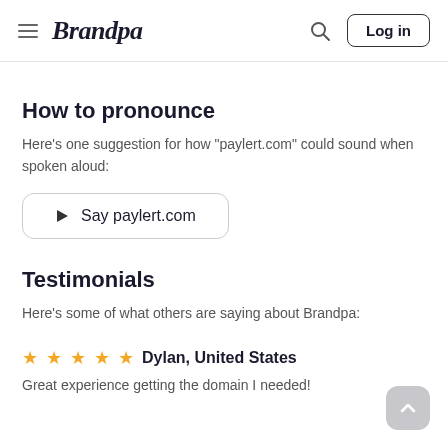Brandpa — Log in
How to pronounce
Here's one suggestion for how "paylert.com" could sound when spoken aloud:
▷ Say paylert.com
Testimonials
Here's some of what others are saying about Brandpa:
★★★★★ Dylan, United States
Great experience getting the domain I needed!